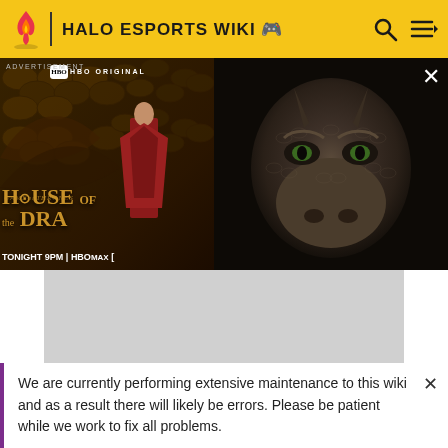HALO ESPORTS WIKI
[Figure (screenshot): Advertisement for House of the Dragon on HBO Max - shows a woman in red dress with dragon background on left panel, close-up of a dragon's face on right panel. Text reads: HBO ORIGINAL, GAME OF THRONES, HOUSE OF THE DRAGON, TONIGHT 9PM | HBOMAX]
[Figure (other): Gray placeholder box for additional content]
We are currently performing extensive maintenance to this wiki and as a result there will likely be errors. Please be patient while we work to fix all problems.